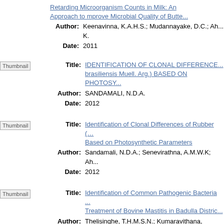Retarding Microorganism Counts in Milk: An Approach to mprove Microbial Quality of Butte...
Author: Keenavinna, K.A.H.S.; Mudannayake, D.C.; Ah... K.
Date: 2011
[Figure (other): Thumbnail placeholder image]
Title: IDENTIFICATION OF CLONAL DIFFERENCE... brasiliensis Muell. Arg.) BASED ON PHOTOSY...
Author: SANDAMALI, N.D.A.
Date: 2012
[Figure (other): Thumbnail placeholder image]
Title: Identification of Clonal Differences of Rubber (... Based on Photosynthetic Parameters
Author: Sandamali, N.D.A.; Senevirathna, A.M.W.K; Ah...
Date: 2012
[Figure (other): Thumbnail placeholder image]
Title: Identification of Common Pathogenic Bacteria ... Treatment of Bovine Mastitis in Badulla Distric...
Author: Thelisinghe, T.H.M.S.N.; Kumaravithana, K.V.K... Kurukulasuriya, M.S.
Date: 2020